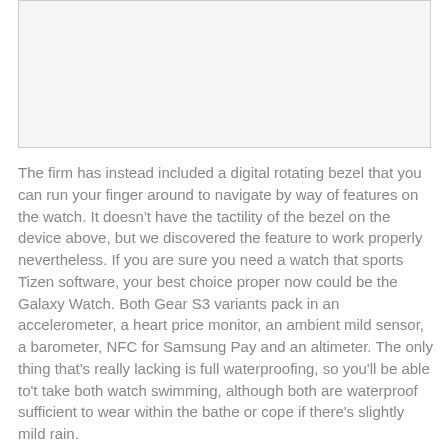[Figure (photo): Empty image placeholder area with light gray background and thin gray border]
The firm has instead included a digital rotating bezel that you can run your finger around to navigate by way of features on the watch. It doesn’t have the tactility of the bezel on the device above, but we discovered the feature to work properly nevertheless. If you are sure you need a watch that sports Tizen software, your best choice proper now could be the Galaxy Watch. Both Gear S3 variants pack in an accelerometer, a heart price monitor, an ambient mild sensor, a barometer, NFC for Samsung Pay and an altimeter. The only thing that’s really lacking is full waterproofing, so you’ll be able to’t take both watch swimming, although both are waterproof sufficient to wear within the bathe or cope if there’s slightly mild rain.